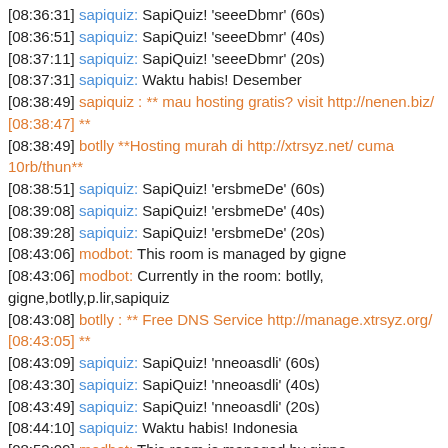[08:36:31] sapiquiz: SapiQuiz! 'seeeDbmr' (60s)
[08:36:51] sapiquiz: SapiQuiz! 'seeeDbmr' (40s)
[08:37:11] sapiquiz: SapiQuiz! 'seeeDbmr' (20s)
[08:37:31] sapiquiz: Waktu habis! Desember
[08:38:49] sapiquiz : ** mau hosting gratis? visit http://nenen.biz/ [08:38:47] **
[08:38:49] botlly **Hosting murah di http://xtrsyz.net/ cuma 10rb/thun**
[08:38:51] sapiquiz: SapiQuiz! 'ersbmeDe' (60s)
[08:39:08] sapiquiz: SapiQuiz! 'ersbmeDe' (40s)
[08:39:28] sapiquiz: SapiQuiz! 'ersbmeDe' (20s)
[08:43:06] modbot: This room is managed by gigne
[08:43:06] modbot: Currently in the room: botlly, gigne,botlly,p.lir,sapiquiz
[08:43:08] botlly : ** Free DNS Service http://manage.xtrsyz.org/ [08:43:05] **
[08:43:09] sapiquiz: SapiQuiz! 'nneoasdli' (60s)
[08:43:30] sapiquiz: SapiQuiz! 'nneoasdli' (40s)
[08:43:49] sapiquiz: SapiQuiz! 'nneoasdli' (20s)
[08:44:10] sapiquiz: Waktu habis! Indonesia
[08:53:09] modbot: This room is managed by gigne
[08:53:09] modbot: Currently in the room: botlly